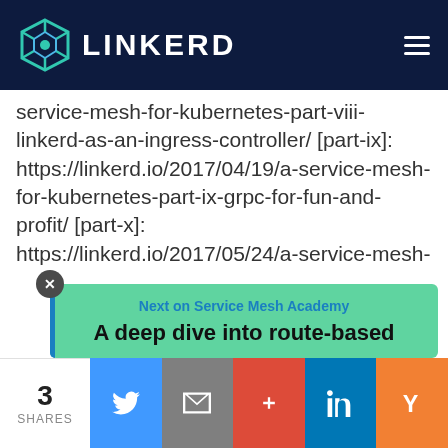[Figure (logo): Linkerd logo with teal geometric icon and white LINKERD text on dark navy background header bar]
service-mesh-for-kubernetes-part-viii-linkerd-as-an-ingress-controller/ [part-ix]: https://linkerd.io/2017/04/19/a-service-mesh-for-kubernetes-part-ix-grpc-for-fun-and-profit/ [part-x]: https://linkerd.io/2017/05/24/a-service-mesh-for-kubernetes-part-x-the-service-mesh-api/ [part-xi]: https://linkerd.io/2017/06/20/a-service-mesh-for-kubernetes-part-xi-egress/
Next on Service Mesh Academy
A deep dive into route-based
3
SHARES